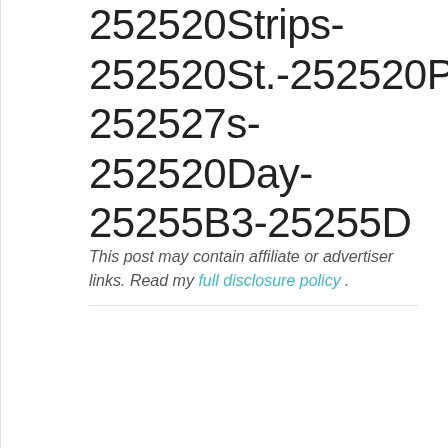252520Strips-252520St.-252520Patrick-252527s-252520Day-25255B3-25255D
This post may contain affiliate or advertiser links. Read my full disclosure policy .